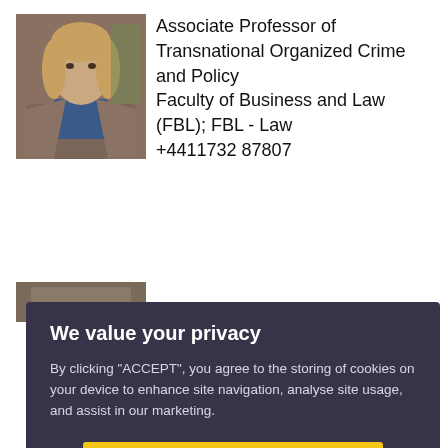[Figure (photo): Profile photo of a woman with light hair, wearing a blazer, with a plant visible in the background.]
Associate Professor of Transnational Organized Crime and Policy
Faculty of Business and Law (FBL); FBL - Law
+4411732 87807
[Figure (photo): Partial view of another profile photo, partially obscured by the cookie consent overlay.]
We value your privacy
By clicking "ACCEPT", you agree to the storing of cookies on your device to enhance site navigation, analyse site usage, and assist in our marketing.
ACCEPT
VIEW COOKIE SETTINGS